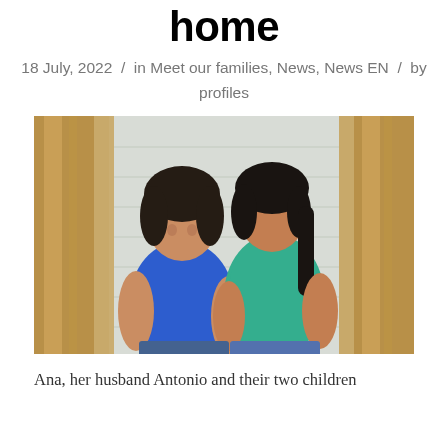home
18 July, 2022 / in Meet our families, News, News EN / by profiles
[Figure (photo): Two women smiling inside a wooden doorway with white/grey brick wall behind them. Left woman wears a blue sleeveless top, right woman wears a teal/green short-sleeve top with ruffles. Warm daylight lighting.]
Ana, her husband Antonio and their two children